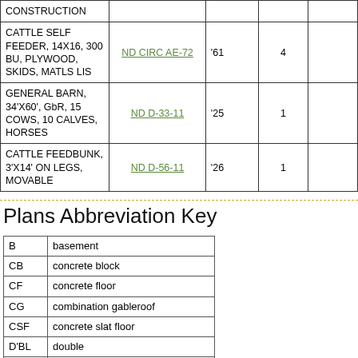| Description | Plan Reference | Year | Qty |  |
| --- | --- | --- | --- | --- |
| CONSTRUCTION |  |  |  |  |
| CATTLE SELF FEEDER, 14X16, 300 BU, PLYWOOD, SKIDS, MATLS LIS | ND CIRC AE-72 | '61 | 4 |  |
| GENERAL BARN, 34'X60', GbR, 15 COWS, 10 CALVES, HORSES | ND D-33-11 | '25 | 1 |  |
| CATTLE FEEDBUNK, 3'X14' ON LEGS, MOVABLE | ND D-56-11 | '26 | 1 |  |
Plans Abbreviation Key
| Abbr | Meaning |
| --- | --- |
| B | basement |
| CB | concrete block |
| CF | concrete floor |
| CG | combination gableroof |
| CSF | concrete slat floor |
| D'BL | double |
| F | fireplace |
| GaR | gambrel roof |
| GbR | gable roof |
| GV | gravity ventilation |